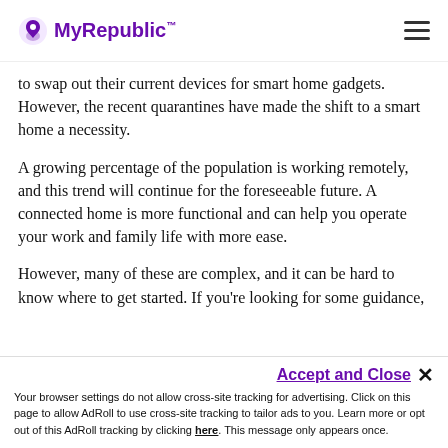MyRepublic
to swap out their current devices for smart home gadgets. However, the recent quarantines have made the shift to a smart home a necessity.
A growing percentage of the population is working remotely, and this trend will continue for the foreseeable future. A connected home is more functional and can help you operate your work and family life with more ease.
However, many of these are complex, and it can be hard to know where to get started. If you're looking for some guidance, let's look at the coolest smart home gadgets on the market right now.
Accept and Close ✕ Your browser settings do not allow cross-site tracking for advertising. Click on this page to allow AdRoll to use cross-site tracking to tailor ads to you. Learn more or opt out of this AdRoll tracking by clicking here. This message only appears once.